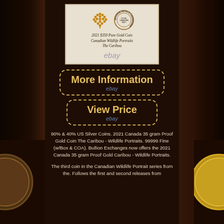[Figure (photo): Royal Canadian Mint certificate card for 2021 $350 Pure Gold Coin Canadian Wildlife Portraits The Caribou, shown with maple leaf logo and mint circular seal, displayed on wooden background]
ebay
More Information
ebay
View Price
ebay
90% & 40% US Silver Coins. 2021 Canada 35 gram Proof Gold Coin The Caribou - Wildlife Portraits. 99999 Fine (w/Box & COA). Bullion Exchanges now offers the 2021 Canada 35 gram Proof Gold Caribou - Wildlife Portraits.
The third coin in the Canadian Wildlife Portrait series from the. Follows the first and second releases from